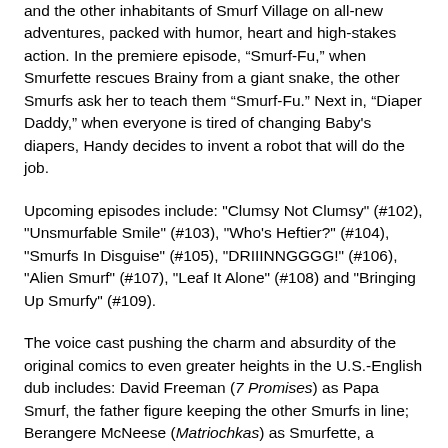and the other inhabitants of Smurf Village on all-new adventures, packed with humor, heart and high-stakes action. In the premiere episode, “Smurf-Fu,” when Smurfette rescues Brainy from a giant snake, the other Smurfs ask her to teach them “Smurf-Fu.” Next in, “Diaper Daddy,” when everyone is tired of changing Baby's diapers, Handy decides to invent a robot that will do the job.
Upcoming episodes include: "Clumsy Not Clumsy" (#102), "Unsmurfable Smile" (#103), "Who's Heftier?" (#104), "Smurfs In Disguise" (#105), "DRIIINNGGGG!" (#106), "Alien Smurf" (#107), "Leaf It Alone" (#108) and "Bringing Up Smurfy" (#109).
The voice cast pushing the charm and absurdity of the original comics to even greater heights in the U.S.-English dub includes: David Freeman (7 Promises) as Papa Smurf, the father figure keeping the other Smurfs in line; Berangere McNeese (Matriochkas) as Smurfette, a curious Smurf who is always ready to take part in new adventures; Lenny Mark Irons (No Man's Land) as Gargamel, a conniving human wizard with a bottomless thirst to capture Smurfs; Youssef El